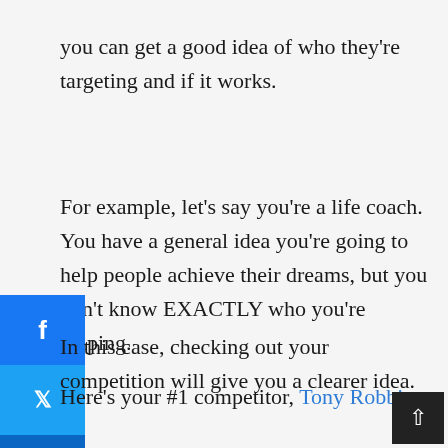you can get a good idea of who they're targeting and if it works.
For example, let's say you're a life coach. You have a general idea you're going to help people achieve their dreams, but you don't know EXACTLY who you're helping.
In this case, checking out your competition will give you a clearer idea.
Here's your #1 competitor, Tony Robbins.